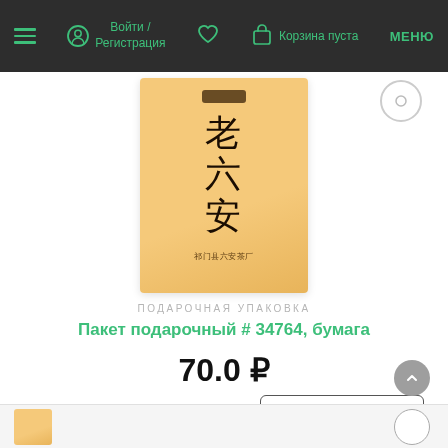Войти / Регистрация | Корзина пуста | МЕНЮ
[Figure (photo): Product image: a tan/golden paper gift bag with Chinese characters 老六安 printed in dark ink, with a dark decorative element at the top]
ПОДАРОЧНАЯ УПАКОВКА
Пакет подарочный # 34764, бумага
70.0 ₽
1 шт.
ДОБАВИТЬ В КОРЗИНУ